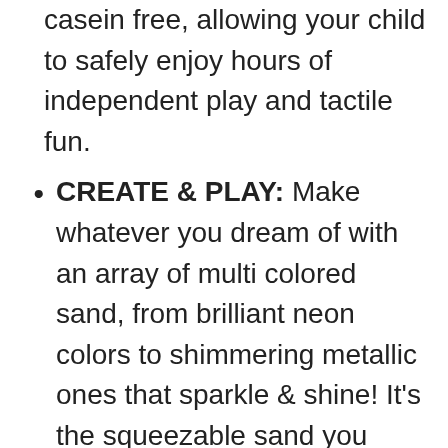casein free, allowing your child to safely enjoy hours of independent play and tactile fun.
CREATE & PLAY: Make whatever you dream of with an array of multi colored sand, from brilliant neon colors to shimmering metallic ones that sparkle & shine! It’s the squeezable sand you can’t put down.
GREAT GIFT FOR BOYS & GIRLS: Kinetic Sand kids toys stimulates children’s creativity, easily cleans up and sticks to itself! Try it if your kids